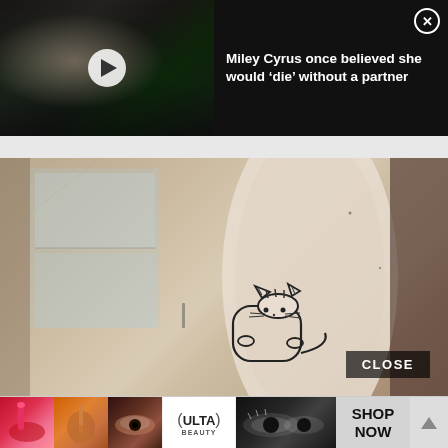[Figure (screenshot): Video thumbnail showing celebrity (Miley Cyrus) at a red carpet event in a green sequined dress, with a white play button overlay on a dark background]
Miley Cyrus once believed she would ‘die’ without a partner
[Figure (photo): Black and white sepia-toned photo of a forearm with a Pusheen cat tattoo (small cartoon cat outline with stripes and whiskers), with a tiled bathroom/mirror background]
CLOSE
[Figure (infographic): Advertisement banner for Ulta Beauty showing makeup product images (lipstick, powder brush, eye makeup, Ulta logo), model eyes, SHOP NOW button, and an up arrow scroll button]